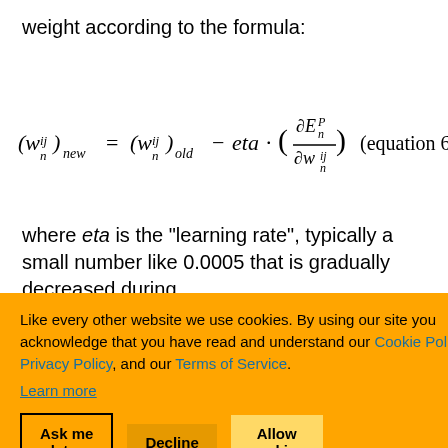weight according to the formula:
where eta is the "learning rate", typically a small number like 0.0005 that is gradually decreased during
emented by agate(). The propagate() ral network and puts, the () function then iterates through all layers in the network, starting from the last
Like every other website we use cookies. By using our site you acknowledge that you have read and understand our Cookie Policy, Privacy Policy, and our Terms of Service. Learn more
Ask me later
Decline
Allow cookies